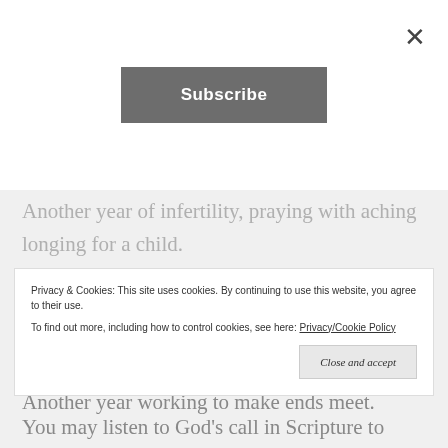[Figure (other): Subscribe button overlay with close X button]
Another year of infertility, praying with aching longing for a child.
Another year of chronic illness, or trying to finish that graduate degree, or working a job you hate, or struggling in a difficult marriage.
Another year working to make ends meet.
Privacy & Cookies: This site uses cookies. By continuing to use this website, you agree to their use. To find out more, including how to control cookies, see here: Privacy/Cookie Policy
You may listen to God's call in Scripture to